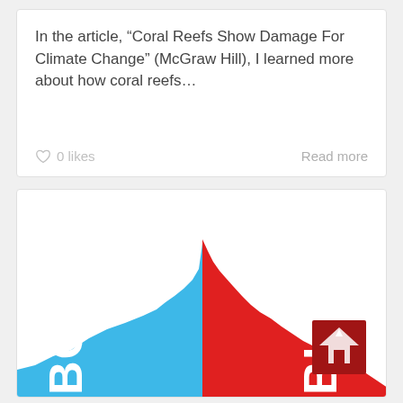In the article, “Coral Reefs Show Damage For Climate Change” (McGraw Hill), I learned more about how coral reefs…
0 likes
Read more
[Figure (infographic): A split infographic showing two mountain-shaped area charts side by side. The left half is blue with the word 'BOOM' written vertically in white. The right half is red with the word 'BUST' written vertically in white with a small house icon above it. Both shapes peak near the center dividing line and taper toward the edges, suggesting a boom-bust economic cycle chart.]